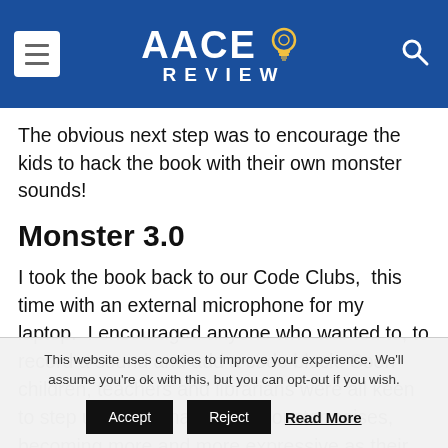AACE REVIEW
The obvious next step was to encourage the kids to hack the book with their own monster sounds!
Monster 3.0
I took the book back to our Code Clubs,  this time with an external microphone for my laptop.  I encouraged anyone who wanted to, to record a sound and add a code block. Soon children, teachers and librarians were all keen to step up and donate their monster noises, becoming more and more expressive as their
This website uses cookies to improve your experience. We'll assume you're ok with this, but you can opt-out if you wish. Accept Reject Read More